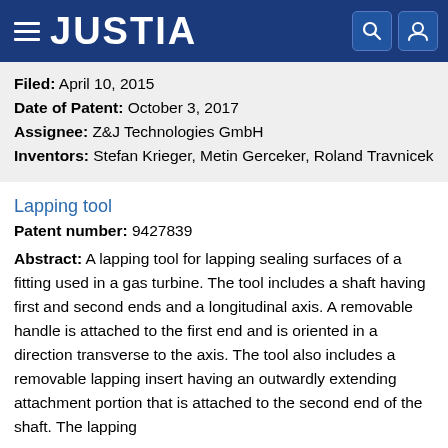JUSTIA
Filed: April 10, 2015
Date of Patent: October 3, 2017
Assignee: Z&J Technologies GmbH
Inventors: Stefan Krieger, Metin Gerceker, Roland Travnicek
Lapping tool
Patent number: 9427839
Abstract: A lapping tool for lapping sealing surfaces of a fitting used in a gas turbine. The tool includes a shaft having first and second ends and a longitudinal axis. A removable handle is attached to the first end and is oriented in a direction transverse to the axis. The tool also includes a removable lapping insert having an outwardly extending attachment portion that is attached to the second end of the shaft. The lapping